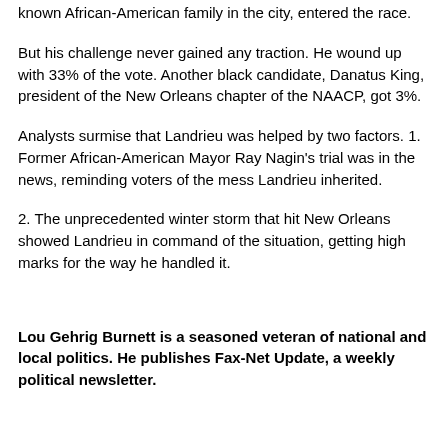known African-American family in the city, entered the race.
But his challenge never gained any traction. He wound up with 33% of the vote. Another black candidate, Danatus King, president of the New Orleans chapter of the NAACP, got 3%.
Analysts surmise that Landrieu was helped by two factors. 1. Former African-American Mayor Ray Nagin's trial was in the news, reminding voters of the mess Landrieu inherited.
2. The unprecedented winter storm that hit New Orleans showed Landrieu in command of the situation, getting high marks for the way he handled it.
Lou Gehrig Burnett is a seasoned veteran of national and local politics. He publishes Fax-Net Update, a weekly political newsletter.